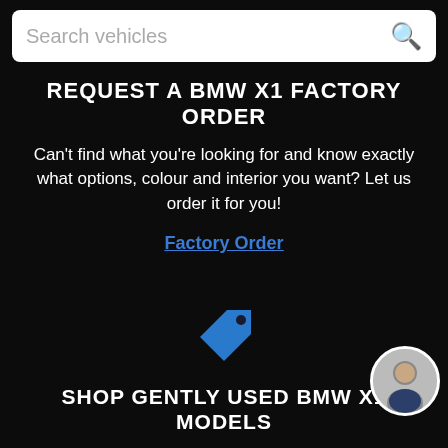Search vehicles
REQUEST A BMW X1 FACTORY ORDER
Can't find what you're looking for and know exactly what options, colour and interior you want? Let us order it for you!
Factory Order
[Figure (illustration): Blue price tag icon]
SHOP GENTLY USED BMW X1 MODELS
Browse through our inventory of gently used RAV4 models that have been inspected and reconditioned to the highest standard.
[Figure (photo): Avatar photo of a smiling man in a suit, circular crop, bottom right corner]